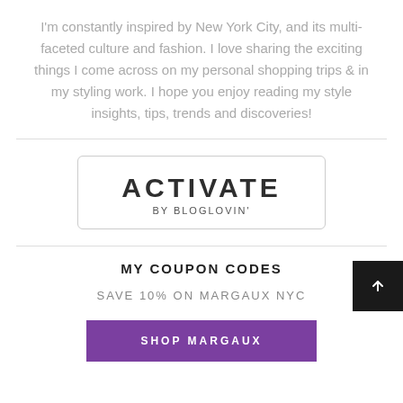I'm constantly inspired by New York City, and its multi-faceted culture and fashion. I love sharing the exciting things I come across on my personal shopping trips & in my styling work. I hope you enjoy reading my style insights, tips, trends and discoveries!
[Figure (logo): ACTIVATE BY BLOGLOVIN' badge with rounded rectangle border]
MY COUPON CODES
SAVE 10% ON MARGAUX NYC
SHOP MARGAUX